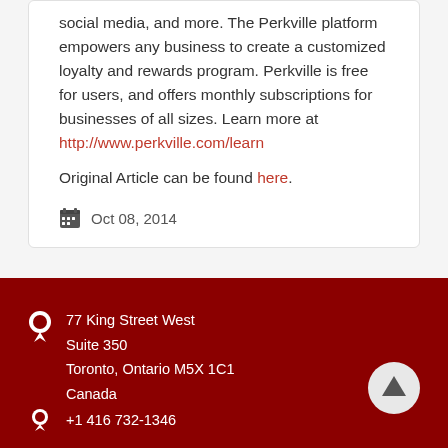social media, and more. The Perkville platform empowers any business to create a customized loyalty and rewards program. Perkville is free for users, and offers monthly subscriptions for businesses of all sizes. Learn more at http://www.perkville.com/learn
Original Article can be found here.
Oct 08, 2014
77 King Street West Suite 350 Toronto, Ontario M5X 1C1 Canada +1 416 732-1346